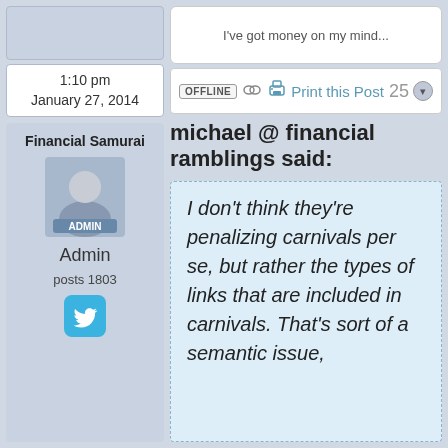I've got money on my mind...
1:10 pm
January 27, 2014
OFFLINE
Print this Post
25
Financial Samurai
[Figure (illustration): Admin user avatar showing a generic person silhouette with ADMIN label below]
Admin
posts 1803
[Figure (logo): Twitter bird icon in blue rounded square]
michael @ financial ramblings said:
I don't think they're penalizing carnivals per se, but rather the types of links that are included in carnivals. That's sort of a semantic issue,